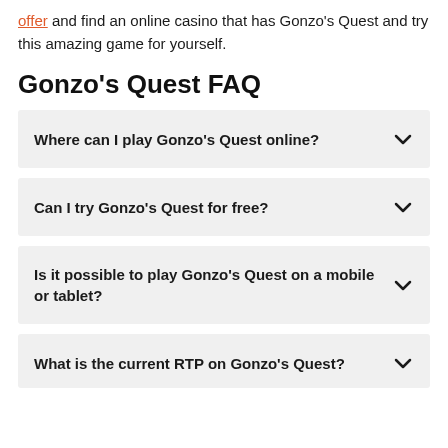offer and find an online casino that has Gonzo's Quest and try this amazing game for yourself.
Gonzo's Quest FAQ
Where can I play Gonzo's Quest online?
Can I try Gonzo's Quest for free?
Is it possible to play Gonzo's Quest on a mobile or tablet?
What is the current RTP on Gonzo's Quest?